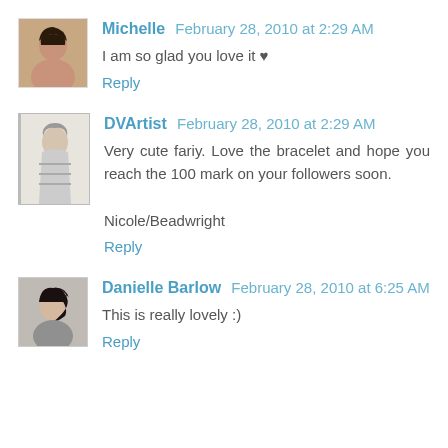[Figure (photo): Avatar photo of Michelle, a person with dark hair]
Michelle February 28, 2010 at 2:29 AM
I am so glad you love it ♥
Reply
[Figure (photo): Avatar sketch/drawing of DVArtist, a figure in striped clothing]
DVArtist February 28, 2010 at 2:29 AM
Very cute fariy. Love the bracelet and hope you reach the 100 mark on your followers soon.

Nicole/Beadwright
Reply
[Figure (photo): Avatar photo of Danielle Barlow, a person with dark hair]
Danielle Barlow February 28, 2010 at 6:25 AM
This is really lovely :)
Reply